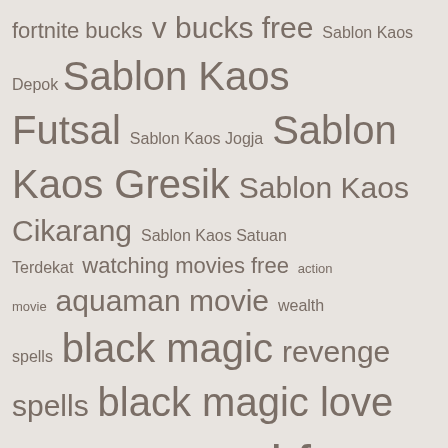[Figure (infographic): Tag cloud with words in various sizes on a light beige background. Terms include: fortnite bucks, v bucks free, Sablon Kaos Depok, Sablon Kaos Futsal, Sablon Kaos Jogja, Sablon Kaos Gresik, Sablon Kaos Cikarang, Sablon Kaos Satuan Terdekat, watching movies free, action movie, aquaman movie, wealth spells, black magic, revenge spells, black magic love spells, natural foot care, orthotic foot care treatment, heal morton's neuroma, storm shelter, family storm shelter, storm shelter for your family, the right]